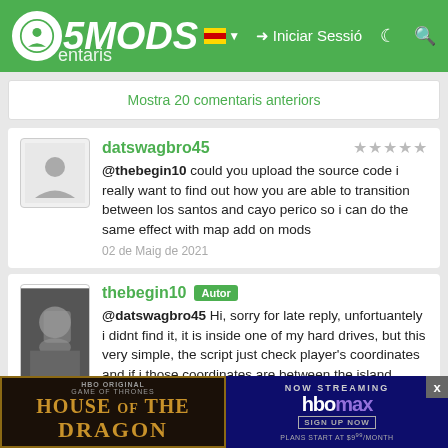5MODS — Comentaris
Mostra 20 comentaris anteriors
datswagbro45
@thebegin10 could you upload the source code i really want to find out how you are able to transition between los santos and cayo perico so i can do the same effect with map add on mods
02 de Maig de 2021
thebegin10 [Autor]
@datswagbro45 Hi, sorry for late reply, unfortuantely i didnt find it, it is inside one of my hard drives, but this very simple, the script just check player's coordinates and if i those coordinates are between the island "coordinates"(more like a radius) i launch function to turn screen black(fadeout) and i call a rockstar function then ... ing like
[Figure (screenshot): House of the Dragon HBO Max advertisement banner at the bottom of the page]